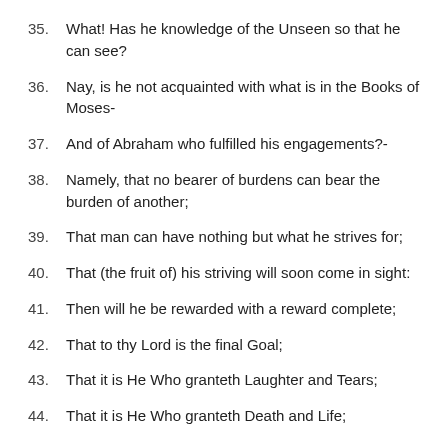35. What! Has he knowledge of the Unseen so that he can see?
36. Nay, is he not acquainted with what is in the Books of Moses-
37. And of Abraham who fulfilled his engagements?-
38. Namely, that no bearer of burdens can bear the burden of another;
39. That man can have nothing but what he strives for;
40. That (the fruit of) his striving will soon come in sight:
41. Then will he be rewarded with a reward complete;
42. That to thy Lord is the final Goal;
43. That it is He Who granteth Laughter and Tears;
44. That it is He Who granteth Death and Life;